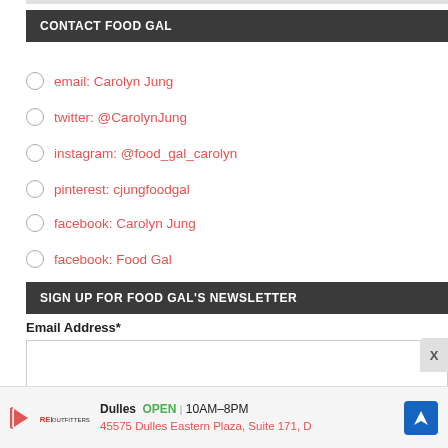CONTACT FOOD GAL
email: Carolyn Jung
twitter: @CarolynJung
instagram: @food_gal_carolyn
pinterest: cjungfoodgal
facebook: Carolyn Jung
facebook: Food Gal
SIGN UP FOR FOOD GAL'S NEWSLETTER
Email Address*
[Figure (screenshot): Ad banner for Dulles store: OPEN 10AM-8PM, 45575 Dulles Eastern Plaza, Suite 171, D]